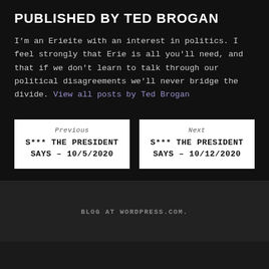PUBLISHED BY TED BROGAN
I'm an Erieite with an interest in politics. I feel strongly that Erie is all you'll need, and that if we don't learn to talk through our political disagreements we'll never bridge the divide. View all posts by Ted Brogan
Previous
S*** THE PRESIDENT SAYS – 10/5/2020
Next
S*** THE PRESIDENT SAYS – 10/12/2020
BLOG AT WORDPRESS.COM.